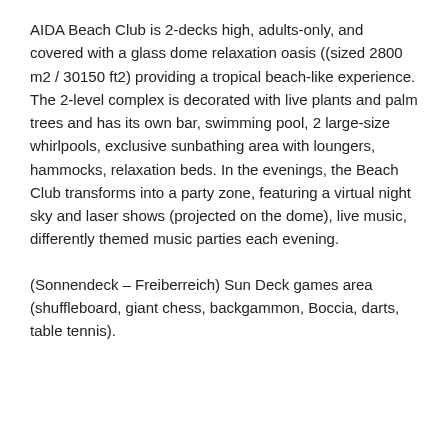AIDA Beach Club is 2-decks high, adults-only, and covered with a glass dome relaxation oasis ((sized 2800 m2 / 30150 ft2) providing a tropical beach-like experience. The 2-level complex is decorated with live plants and palm trees and has its own bar, swimming pool, 2 large-size whirlpools, exclusive sunbathing area with loungers, hammocks, relaxation beds. In the evenings, the Beach Club transforms into a party zone, featuring a virtual night sky and laser shows (projected on the dome), live music, differently themed music parties each evening.
(Sonnendeck – Freiberreich) Sun Deck games area (shuffleboard, giant chess, backgammon, Boccia, darts, table tennis).